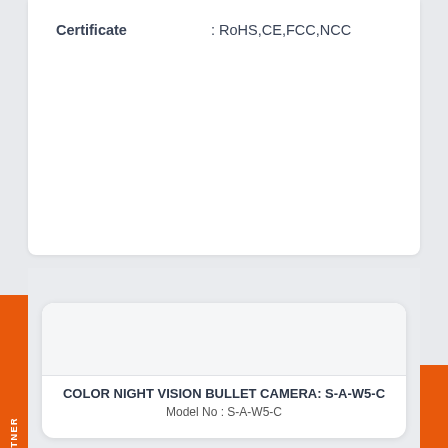Certificate : RoHS,CE,FCC,NCC
Related Products
COLOR NIGHT VISION BULLET CAMERA: S-A-W5-C
Model No : S-A-W5-C